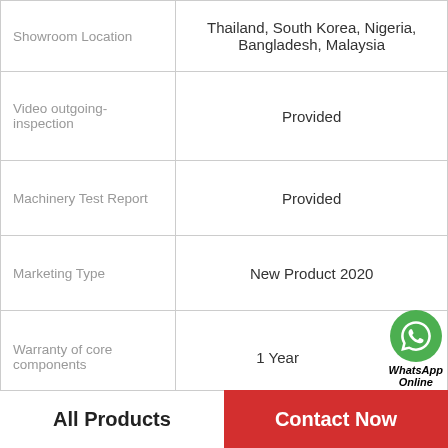| Attribute | Value |
| --- | --- |
| Showroom Location | Thailand, South Korea, Nigeria, Bangladesh, Malaysia |
| Video outgoing-inspection | Provided |
| Machinery Test Report | Provided |
| Marketing Type | New Product 2020 |
| Warranty of core components | 1 Year |
| Core Components | PLC |
| Condition | New |
| Place of Origin | Shanghai, China |
[Figure (logo): WhatsApp Online badge with green phone icon]
All Products
Contact Now